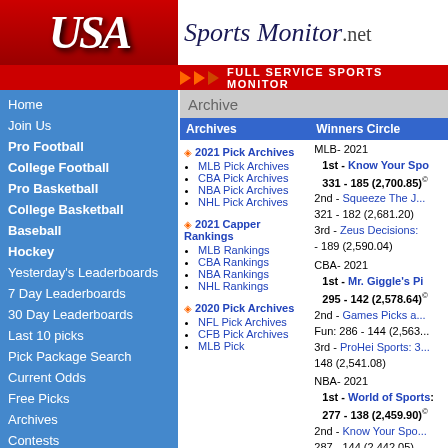USA Sports Monitor.net - FULL SERVICE SPORTS MONITOR
Archive
| Archives | Winners Circle |
| --- | --- |
| 2021 Pick Archives: MLB Pick Archives, CBA Pick Archives, NBA Pick Archives, NHL Pick Archives | MLB- 2021 1st - Know Your Spo... 331 - 185 (2,700.85) 2nd - Squeeze The J... 321 - 182 (2,681.20) 3rd - Zeus Decisions... - 189 (2,590.04) |
| 2021 Capper Rankings: MLB Rankings, CBA Rankings, NBA Rankings, NHL Rankings | CBA- 2021 1st - Mr. Giggle's Pi... 295 - 142 (2,578.64) 2nd - Games Picks a... Fun: 286 - 144 (2,563...) 3rd - ProHei Sports: 3... 148 (2,541.08) |
| 2020 Pick Archives: NFL Pick Archives, CFB Pick Archives, MLB Pick Archives | NBA- 2021 1st - World of Sports... 277 - 138 (2,459.90) 2nd - Know Your Spo... 287 - 144 (2,442.05) 3rd - Nick and Matt K... Sports: 291 - 148 (2,439.10) |
|  | NHL- 2021 1st - North Side Spo... 218 - 111 (2,118.71) 2nd - The Game: 210 - 134 (1,739.00) |